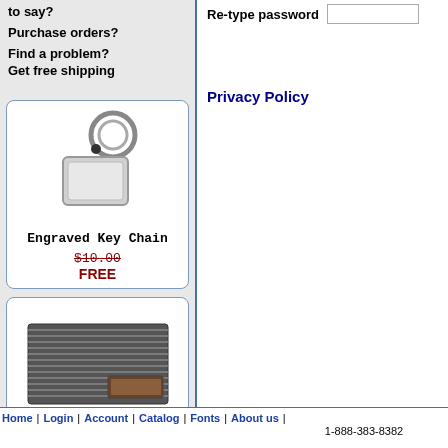to say?
Purchase orders?
Find a problem?
Get free shipping
[Figure (illustration): Engraved key chain with metal ring and blank rectangular tag]
Engraved Key Chain
$10.00
FREE
[Figure (illustration): Business card holder with striped metal design]
Business Card Holder
$19.99
Re-type password
Privacy Policy
Home | Login | Account | Catalog | Fonts | About us | 1-888-383-8382